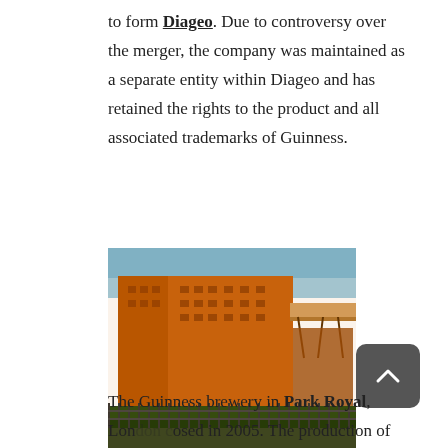to form Diageo. Due to controversy over the merger, the company was maintained as a separate entity within Diageo and has retained the rights to the product and all associated trademarks of Guinness.
[Figure (photo): The Guinness Brewery Park Royal, a large industrial brick building photographed during demolition. The building is a multi-storey orange-brown brick structure with a covered walkway/bridge on the right side, set against a blue sky with a metal fence in the foreground.]
The Guinness Brewery Park Royal during demolition, at its peak the largest and most productive brewery in the world.
The Guinness brewery in Park Royal, London closed in 2005. The production of all Guinness sold in the UK and